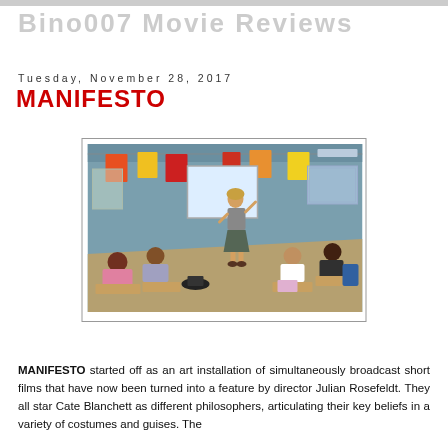Bino007 Movie Reviews
Tuesday, November 28, 2017
MANIFESTO
[Figure (photo): Classroom scene with a woman standing at a whiteboard teaching children seated at desks, colorful papers hanging on the teal-colored walls behind her.]
MANIFESTO started off as an art installation of simultaneously broadcast short films that have now been turned into a feature by director Julian Rosefeldt. They all star Cate Blanchett as different philosophers, articulating their key beliefs in a variety of costumes and guises. The